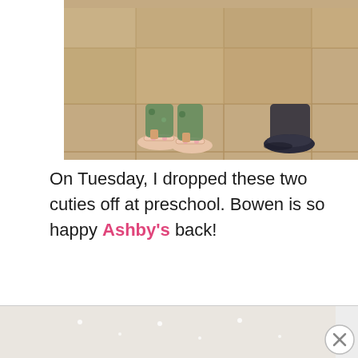[Figure (photo): Top portion of a photo showing feet/shoes of two people standing on a tiled floor. One person wearing pink sandals, another wearing dark slip-on shoes. Green patterned pants visible.]
On Tuesday, I dropped these two cuties off at preschool.  Bowen is so happy Ashby's back!
[Figure (photo): Indoor photo showing a child (blonde, wearing black shirt) sitting on a floor covered with scattered small white items/confetti. Hallway and staircase visible in background. Washed-out/bright light effect.]
[Figure (photo): Continuation of the indoor photo, partially visible at bottom of page, also showing advertisement overlay at very bottom with close (X) button.]